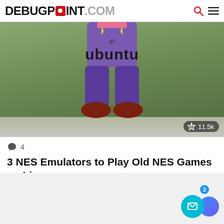DEBUGPOINT.COM
[Figure (screenshot): Partial view of a cartoon character (Waluigi-style) legs in purple overalls and red shoes, on a green background, with 'in UBUNTU' text overlay and a view count badge showing 11.5k]
4
3 NES Emulators to Play Old NES Games on Linux